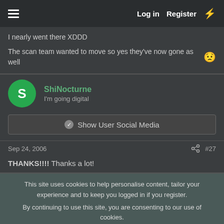Log in  Register
I nearly went there XDDD
The scan team wanted to move so yes they've now gone as well 😟
ShiNocturne   I'm going digital
Show User Social Media
Sep 24, 2006  #27
THANKS!!!! Thanks a lot!
This site uses cookies to help personalise content, tailor your experience and to keep you logged in if you register. By continuing to use this site, you are consenting to our use of cookies.
Accept   Learn more...